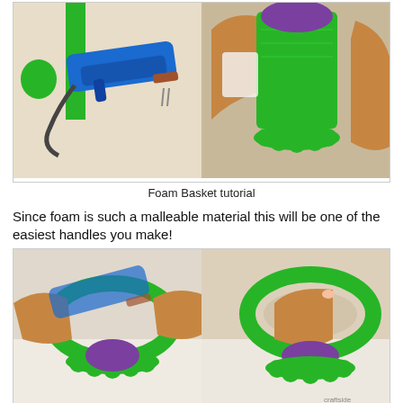[Figure (photo): Two-panel photo showing foam basket tutorial steps: left panel shows a blue hot glue gun with green glitter foam strip on white surface; right panel shows hands holding a green glitter foam basket with purple flower foam insert.]
Foam Basket tutorial
Since foam is such a malleable material this will be one of the easiest handles you make!
[Figure (photo): Two-panel photo showing foam basket tutorial steps: left panel shows hands holding a green glitter foam loop/handle with purple flower base and hot glue gun nearby; right panel shows a completed green glitter foam basket handle attached to purple flower base, held in hand.]
Foam Basket tutorial
Added a scalloped foam die cut [ Spellbinders ] on some of